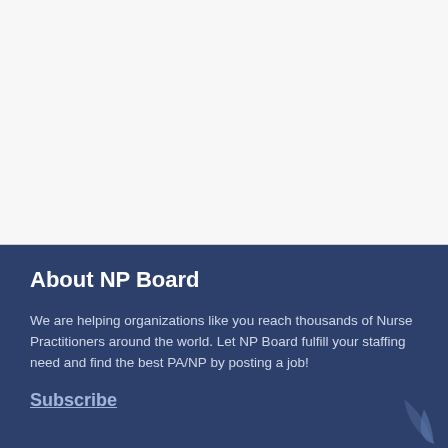About NP Board
We are helping organizations like you reach thousands of Nurse Practitioners around the world. Let NP Board fulfill your staffing need and find the best PA/NP by posting a job!
Subscribe